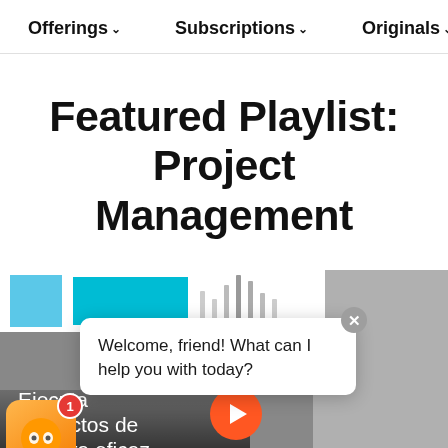Offerings ∨   Subscriptions ∨   Originals ∨
Featured Playlist: Project Management
[Figure (screenshot): Learning platform screenshot showing a video carousel with a chatbot overlay. Bot icon with badge '1' visible bottom-left, chat bubble says 'Welcome, friend! What can I help you with today?', close button top-right of bubble. Below: course thumbnail with text 'Ejecuta proyectos de manera eficaz' and an orange play button. Right side shows an office meeting photo.]